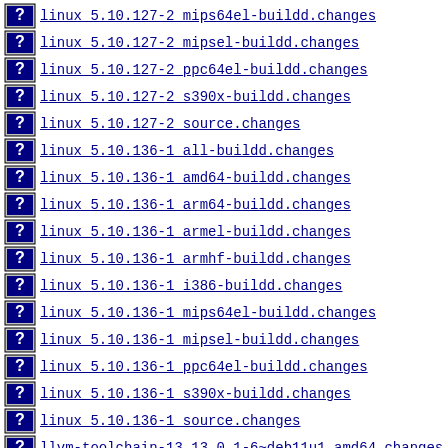linux_5.10.127-2_mips64el-buildd.changes
linux_5.10.127-2_mipsel-buildd.changes
linux_5.10.127-2_ppc64el-buildd.changes
linux_5.10.127-2_s390x-buildd.changes
linux_5.10.127-2_source.changes
linux_5.10.136-1_all-buildd.changes
linux_5.10.136-1_amd64-buildd.changes
linux_5.10.136-1_arm64-buildd.changes
linux_5.10.136-1_armel-buildd.changes
linux_5.10.136-1_armhf-buildd.changes
linux_5.10.136-1_i386-buildd.changes
linux_5.10.136-1_mips64el-buildd.changes
linux_5.10.136-1_mipsel-buildd.changes
linux_5.10.136-1_ppc64el-buildd.changes
linux_5.10.136-1_s390x-buildd.changes
linux_5.10.136-1_source.changes
llvm-toolchain-13_13.0.1-6~deb11u1_amd64.changes
llvm-toolchain-13...